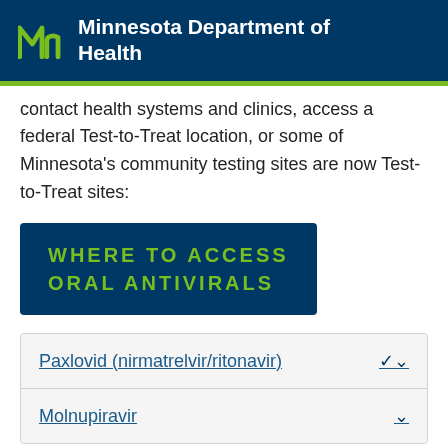Minnesota Department of Health
contact health systems and clinics, access a federal Test-to-Treat location, or some of Minnesota's community testing sites are now Test-to-Treat sites:
WHERE TO ACCESS ORAL ANTIVIRALS
Paxlovid (nirmatrelvir/ritonavir)
Molnupiravir
COVID-19 Medications: Oral Antivirals (PDF)
Handout summary of when oral antivirals